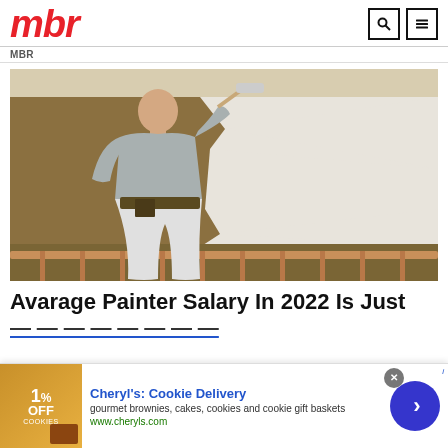mbr
MBR
[Figure (photo): A painter painting a wall white using a roller. The man is seen from behind, wearing a grey t-shirt and white pants, with a tool belt. He is painting a tan/beige wall white in a stairwell or hallway area.]
Avarage Painter Salary In 2022 Is Just
[Figure (infographic): Advertisement banner for Cheryl's Cookie Delivery. Shows a promotional image on the left with '% OFF' text over food items. Center has 'Cheryl's: Cookie Delivery' in blue bold text, then 'gourmet brownies, cakes, cookies and cookie gift baskets' in grey, then 'www.cheryls.com' in green. Right side has a dark blue circular arrow button. Top right has a small close/X icon.]